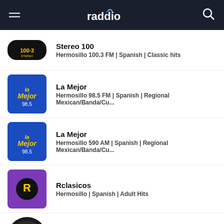raddio
Stereo 100 | Hermosillo 100.3 FM | Spanish | Classic hits
La Mejor | Hermosillo 98.5 FM | Spanish | Regional Mexican/Banda/Cu...
La Mejor | Hermosillo 590 AM | Spanish | Regional Mexican/Banda/Cu...
Rclasicos | Hermosillo | Spanish | Adult Hits
Zoom95 | Hermosillo 95.5 FM | Spanish | Alternative rock
Sonika | Hermosillo 105.1 FM | Spanish | Classic hits